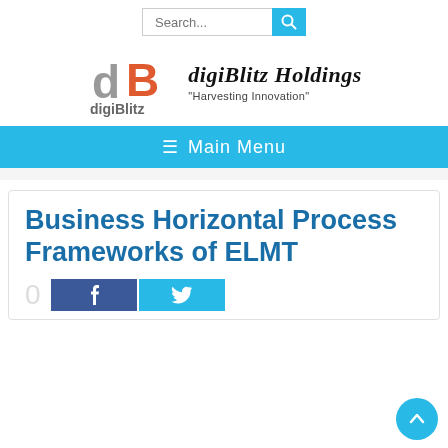Search...
[Figure (logo): digiBlitz Holdings logo with stylized 'dB' icon and company name 'digiBlitz Holdings' with tagline 'Harvesting Innovation']
Main Menu
Business Horizontal Process Frameworks of ELMT